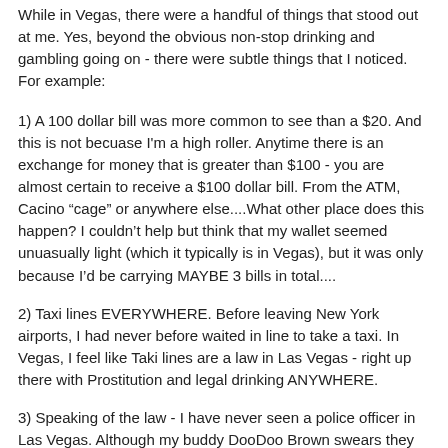While in Vegas, there were a handful of things that stood out at me. Yes, beyond the obvious non-stop drinking and gambling going on - there were subtle things that I noticed. For example:
1) A 100 dollar bill was more common to see than a $20. And this is not becuase I'm a high roller. Anytime there is an exchange for money that is greater than $100 - you are almost certain to receive a $100 dollar bill. From the ATM, Cacino "cage" or anywhere else....What other place does this happen? I couldn't help but think that my wallet seemed unuasually light (which it typically is in Vegas), but it was only because I'd be carrying MAYBE 3 bills in total....
2) Taxi lines EVERYWHERE. Before leaving New York airports, I had never before waited in line to take a taxi. In Vegas, I feel like Taki lines are a law in Las Vegas - right up there with Prostitution and legal drinking ANYWHERE.
3) Speaking of the law - I have never seen a police officer in Las Vegas. Although my buddy DooDoo Brown swears they exist (or was it really in Delray Beach, FL?), I am convinced